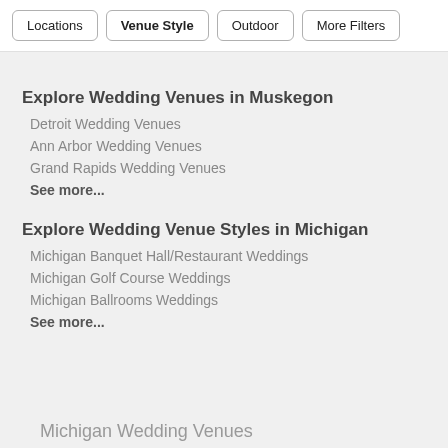Locations | Venue Style | Outdoor | More Filters
Explore Wedding Venues in Muskegon
Detroit Wedding Venues
Ann Arbor Wedding Venues
Grand Rapids Wedding Venues
See more...
Explore Wedding Venue Styles in Michigan
Michigan Banquet Hall/Restaurant Weddings
Michigan Golf Course Weddings
Michigan Ballrooms Weddings
See more...
Michigan Wedding Venues